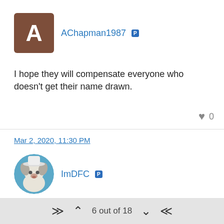AChapman1987 [PS]
I hope they will compensate everyone who doesn't get their name drawn.
0
Mar 2, 2020, 11:30 PM
ImDFC [PS]
Honestly I should've been paid at least $13 for my uber important insight
6 out of 18